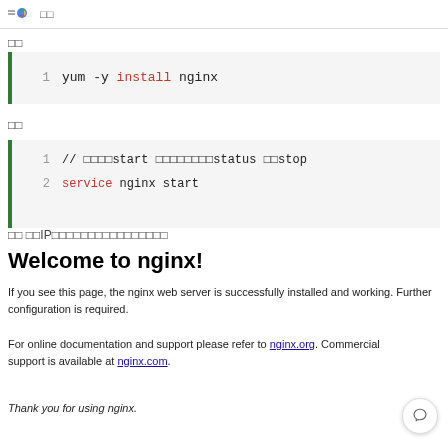□□
□□
1   yum -y install nginx
□□
1   // □□□□start □□□□□□□□status □□stop
2   service nginx start
□□ □□IP□□□□□□□□□□□□□□□□
Welcome to nginx!
If you see this page, the nginx web server is successfully installed and working. Further configuration is required.
For online documentation and support please refer to nginx.org. Commercial support is available at nginx.com.
Thank you for using nginx.